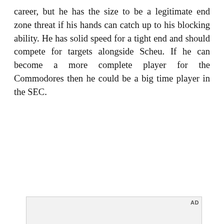career, but he has the size to be a legitimate end zone threat if his hands can catch up to his blocking ability. He has solid speed for a tight end and should compete for targets alongside Scheu. If he can become a more complete player for the Commodores then he could be a big time player in the SEC.
[Figure (other): Advertisement box with light gray background labeled AD in upper right corner, followed by a video thumbnail showing a woman in a car holding a Samsung folding phone with the text 'Unfold your world' and a play button overlay.]